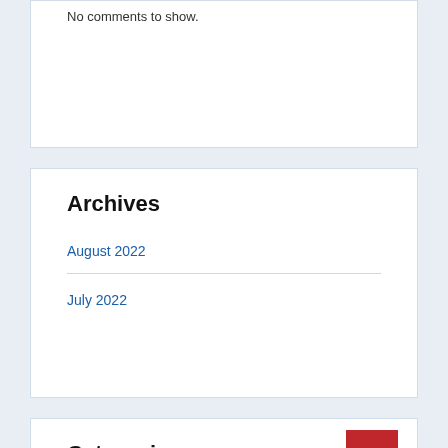No comments to show.
Archives
August 2022
July 2022
Categories
Home Improvement Pro